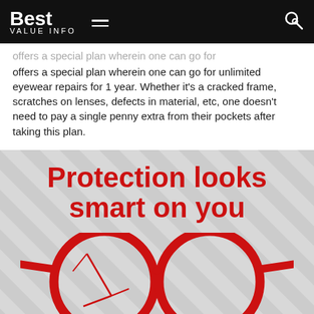Best VALUE INFO
offers a special plan wherein one can go for unlimited eyewear repairs for 1 year. Whether it's a cracked frame, scratches on lenses, defects in material, etc, one doesn't need to pay a single penny extra from their pockets after taking this plan.
[Figure (illustration): Infographic with text 'Protection looks smart on you' in bold red, over a gray diagonal striped background, with an illustration of red-framed glasses with a cracked left lens at the bottom.]